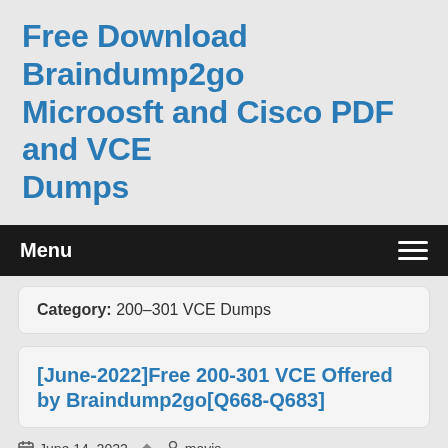Free Download Braindump2go Microosft and Cisco PDF and VCE Dumps
Menu
Category: 200-301 VCE Dumps
[June-2022]Free 200-301 VCE Offered by Braindump2go[Q668-Q683]
June 14, 2022   mavis
June/2022 Latest Braindump2go